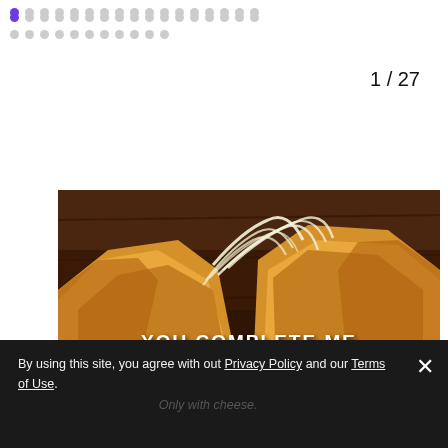[Figure (other): Navigation dots: first dot is purple/active, rest are gray; two rows of dots forming a slideshow navigation indicator]
1 / 27
[Figure (photo): Close-up photo of a quesadilla being pulled apart with melted cheese stretching between two halves, on a dark wooden surface. White text overlay reads 'YOU COMPLETE ME']
By using this site, you agree with out Privacy Policy and our Terms of Use.
Only with cheese.